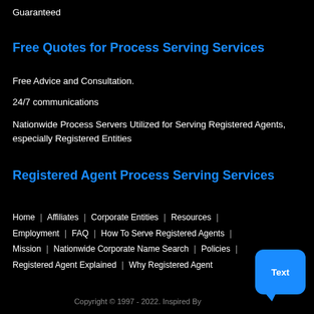Guaranteed
Free Quotes for Process Serving Services
Free Advice and Consultation.
24/7 communications
Nationwide Process Servers Utilized for Serving Registered Agents, especially Registered Entities
Registered Agent Process Serving Services
Home | Affiliates | Corporate Entities | Resources | Employment | FAQ | How To Serve Registered Agents | Mission | Nationwide Corporate Name Search | Policies | Registered Agent Explained | Why Registered Agent
Copyright © 1997 - 2022. Inspired By Go...